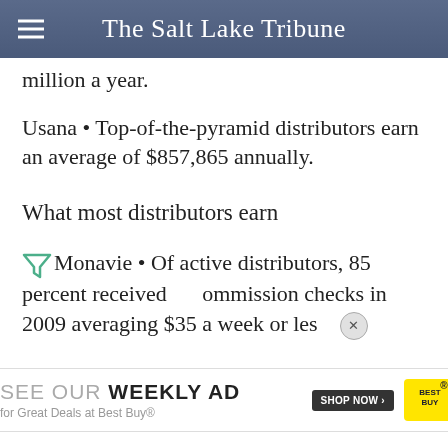The Salt Lake Tribune
million a year.
Usana • Top-of-the-pyramid distributors earn an average of $857,865 annually.
What most distributors earn
Monavie • Of active distributors, 85 percent received commission checks in 2009 averaging $35 a week or less
[Figure (infographic): Best Buy advertisement banner: SEE OUR WEEKLY AD for Great Deals at Best Buy® with SHOP NOW button and Best Buy logo]
Nu Ski 11,357 people, or fewer than 15 percent, received a